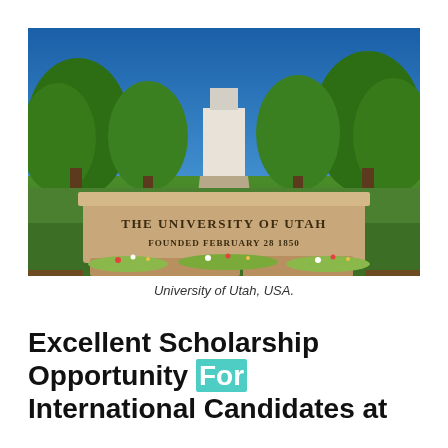[Figure (photo): Photograph of the University of Utah entrance stone monument sign reading 'THE UNIVERSITY OF UTAH FOUNDED FEBRUARY 28 1850', surrounded by green trees and a blue sky.]
University of Utah, USA.
Excellent Scholarship Opportunity For International Candidates at